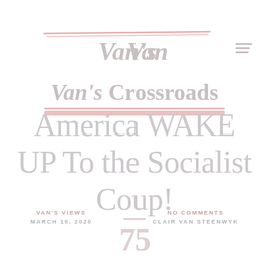[Figure (logo): Van's Crossroads website logo with decorative red underlines and hamburger menu icon]
America WAKE UP To the Socialist Coup!
VAN'S VIEWS
MARCH 15, 2020
NO COMMENTS
CLAIR VAN STEENWYK
75